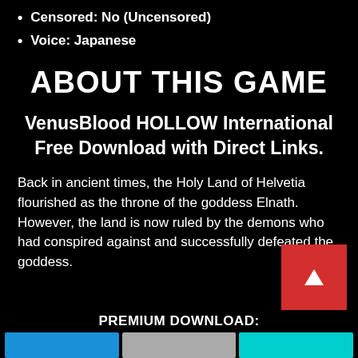Censored: No (Uncensored)
Voice: Japanese
ABOUT THIS GAME
VenusBlood HOLLOW International Free Download with Direct Links.
Back in ancient times, the Holy Land of Helvetia flourished as the throne of the goddess Elnath. However, the land is now ruled by the demons who had conspired against and successfully defeated the goddess.
PREMIUM DOWNLOAD: